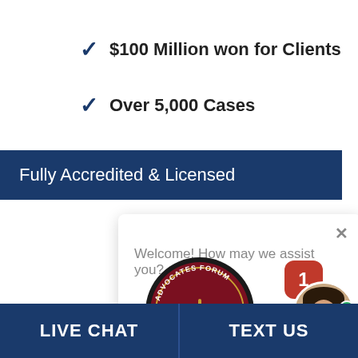$100 Million won for Clients
Over 5,000 Cases
Fully Accredited & Licensed
Welcome! How may we assist you?
[Figure (logo): Advocates Forum legal seal — circular emblem with scales of justice, dark red background, gold scales, text reading ADVOCATES FORUM around the border]
[Figure (photo): Chat widget showing a smiling woman avatar with green online indicator and a red notification badge showing 1]
LIVE CHAT   TEXT US